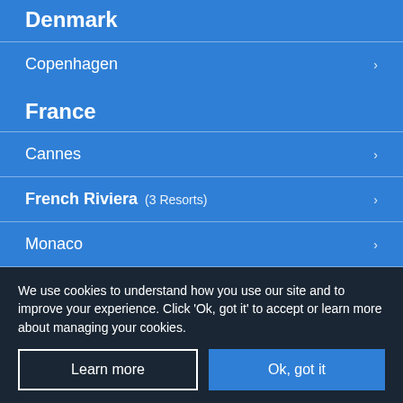Denmark
Copenhagen
France
Cannes
French Riviera (3 Resorts)
Monaco
Nice
We use cookies to understand how you use our site and to improve your experience. Click 'Ok, got it' to accept or learn more about managing your cookies.